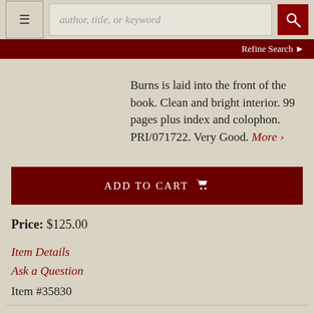author, title, or keyword | Refine Search
Burns is laid into the front of the book. Clean and bright interior. 99 pages plus index and colophon. PRI/071722. Very Good. More >
ADD TO CART
Price: $125.00
Item Details
Ask a Question
Item #35830